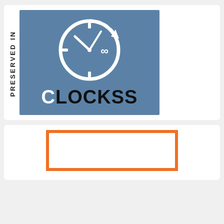[Figure (logo): CLOCKSS preservation logo: vertical text 'PRESERVED IN' on the left, and a blue square with a clock graphic and infinity symbol, with text 'CLOCKSS' below the clock.]
[Figure (other): White card with an orange rectangular border/frame, partially visible at the bottom of the page.]